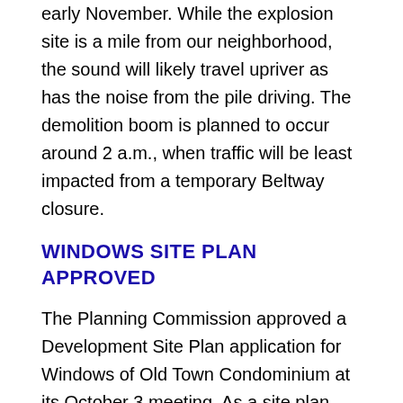early November. While the explosion site is a mile from our neighborhood, the sound will likely travel upriver as has the noise from the pile driving. The demolition boom is planned to occur around 2 a.m., when traffic will be least impacted from a temporary Beltway closure.
WINDOWS SITE PLAN APPROVED
The Planning Commission approved a Development Site Plan application for Windows of Old Town Condominium at its October 3 meeting. As a site plan, this item did not have a public hearing at City Council. However, the Council did grant a request for a parking reduction at its October 14 public hearing meeting. The planned residential condos are located at 1125 North Royal Street, where the warehouse buildings formerly occupied by Windows Catering are located. The project includes 18 townhouse style units and three residential units over ground floor retail. A one level